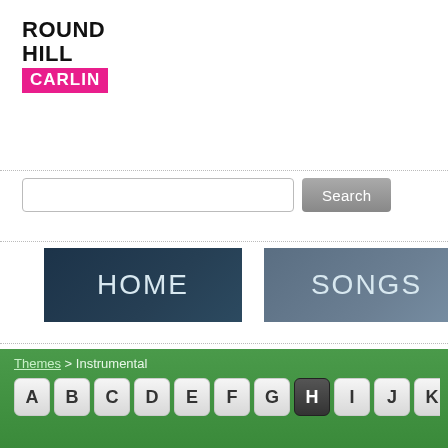[Figure (logo): Round Hill Carlin logo - black text 'ROUND HILL' with pink/magenta banner reading 'CARLIN']
Search (input field and button)
HOME | SONGS | W (navigation buttons)
Themes > Instrumental
A B C D E F G H I J K L M N (alphabetical filter buttons, H highlighted)
Handful Of Keys
Fats Waller
Harmonic
Cicada
Heartaches
Chet Atkins
Hide Away
Freddie Ki